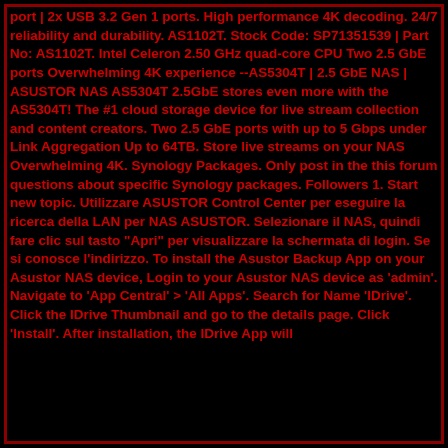port | 2x USB 3.2 Gen 1 ports. High performance 4K decoding. 24/7 reliability and durability. AS1102T. Stock Code: SP71351539 | Part No: AS1102T. Intel Celeron 2.50 GHz quad-core CPU Two 2.5 GbE ports Overwhelming 4K experience --AS5304T | 2.5 GbE NAS | ASUSTOR NAS AS5304T 2.5GbE stores even more with the AS5304T! The #1 cloud storage device for live stream collection and content creators. Two 2.5 GbE ports with up to 5 Gbps under Link Aggregation Up to 64TB. Store live streams on your NAS Overwhelming 4K. Synology Packages. Only post in the this forum questions about specific Synology packages. Followers 1. Start new topic. Utilizzare ASUSTOR Control Center per eseguire la ricerca della LAN per NAS ASUSTOR. Selezionare il NAS, quindi fare clic sul tasto "Apri" per visualizzare la schermata di login. Se si conosce l'indirizzo. To install the Asustor Backup App on your Asustor NAS device, Login to your Asustor NAS device as 'admin'. Navigate to 'App Central' > 'All Apps'. Search for Name 'IDrive'. Click the IDrive Thumbnail and go to the details page. Click 'Install'. After installation, the IDrive App will